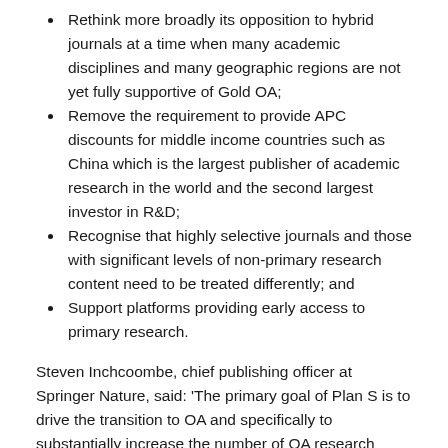Rethink more broadly its opposition to hybrid journals at a time when many academic disciplines and many geographic regions are not yet fully supportive of Gold OA;
Remove the requirement to provide APC discounts for middle income countries such as China which is the largest publisher of academic research in the world and the second largest investor in R&D;
Recognise that highly selective journals and those with significant levels of non-primary research content need to be treated differently; and
Support platforms providing early access to primary research.
Steven Inchcoombe, chief publishing officer at Springer Nature, said: 'The primary goal of Plan S is to drive the transition to OA and specifically to substantially increase the number of OA research articles published each year as quickly as possible. For this to succeed and crucially to be sustainable, we need to adoptional to be a new